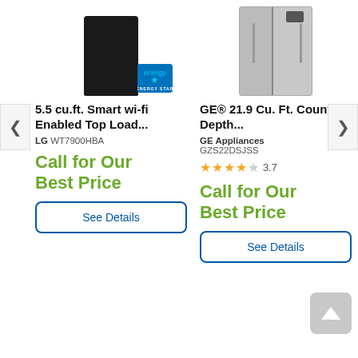[Figure (photo): LG black top-load washer with Energy Star badge, cropped at top]
[Figure (photo): GE stainless steel side-by-side counter-depth refrigerator, cropped at top]
5.5 cu.ft. Smart wi-fi Enabled Top Load...
GE® 21.9 Cu. Ft. Counter-Depth...
LG WT7900HBA
GE Appliances GZS22DSJSS
3.7
Call for Our Best Price
Call for Our Best Price
See Details
See Details